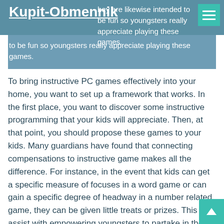Kupit-Obmennik
they are likewise intended to be fun so youngsters really appreciate playing these games.
To bring instructive PC games effectively into your home, you want to set up a framework that works. In the first place, you want to discover some instructive programming that your kids will appreciate. Then, at that point, you should propose these games to your kids. Many guardians have found that connecting compensations to instructive game makes all the difference. For instance, in the event that kids can get a specific measure of focuses in a word game or can gain a specific degree of headway in a number related game, they can be given little treats or prizes. This will assist with empowering youngsters to partake in the games more and stick with the games. For small kids, having a parent play a game with them can be compensating itself. For more established kids, prizes and rewards